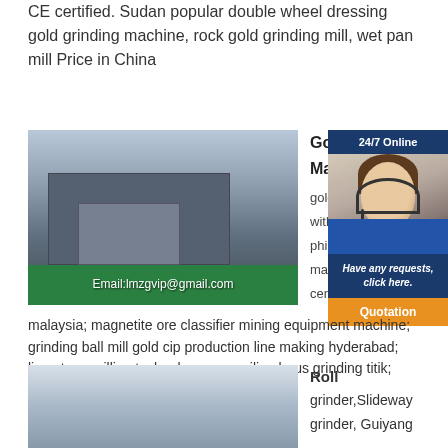CE certified. Sudan popular double wheel dressing gold grinding machine, rock gold grinding mill, wet pan mill Price in China
[Figure (photo): Industrial factory interior with machinery and equipment. Email:lmzgvip@gmail.com overlay text]
Gold... Mac... gold... with... phili... mac... cem...
[Figure (infographic): 24/7 Online chat widget showing a woman with headset, Have any requests, click here. Quotation button]
malaysia; magnetite ore classifier mining equipment machine; grinding ball mill gold cip production line making hyderabad; limestone milling technology; penggiling lurus grinding titik; mine mobile crusher for sale with iso
[Figure (photo): Industrial building interior with high ceiling windows]
Roll
grinder,Slideway grinder, Guiyang